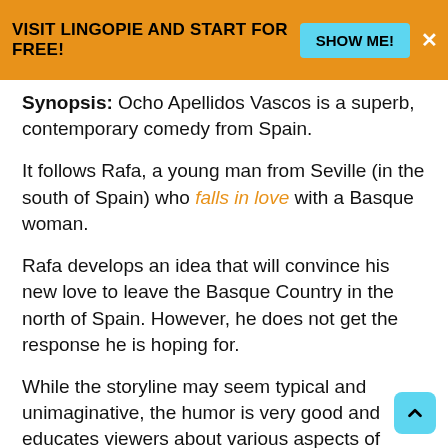VISIT LINGOPIE AND START FOR FREE! SHOW ME!
Synopsis: Ocho Apellidos Vascos is a superb, contemporary comedy from Spain.
It follows Rafa, a young man from Seville (in the south of Spain) who falls in love with a Basque woman.
Rafa develops an idea that will convince his new love to leave the Basque Country in the north of Spain. However, he does not get the response he is hoping for.
While the storyline may seem typical and unimaginative, the humor is very good and educates viewers about various aspects of Spanish culture, strong family ties, and cultural differences within the